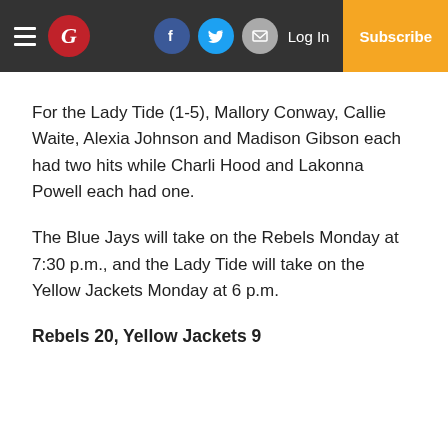G | Log In | Subscribe (social icons: Facebook, Twitter, Email)
For the Lady Tide (1-5), Mallory Conway, Callie Waite, Alexia Johnson and Madison Gibson each had two hits while Charli Hood and Lakonna Powell each had one.
The Blue Jays will take on the Rebels Monday at 7:30 p.m., and the Lady Tide will take on the Yellow Jackets Monday at 6 p.m.
Rebels 20, Yellow Jackets 9